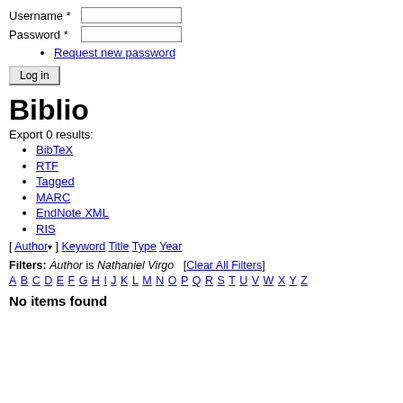Username *
Password *
Request new password
Log in
Biblio
Export 0 results:
BibTeX
RTF
Tagged
MARC
EndNote XML
RIS
[ Author ▾ ] Keyword Title Type Year
Filters: Author is Nathaniel Virgo  [Clear All Filters]
A B C D E F G H I J K L M N O P Q R S T U V W X Y Z
No items found